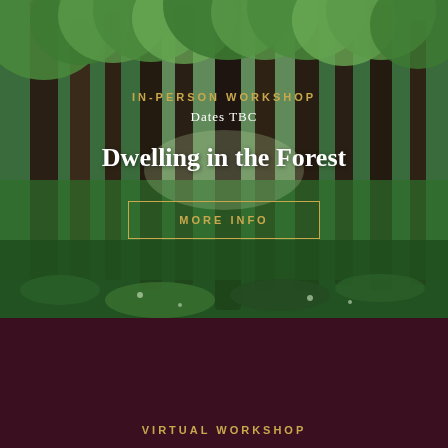[Figure (photo): Lush green forest with tall trees and green undergrowth ground cover, viewed from a path through the woods]
IN-PERSON WORKSHOP
Dates TBC
Dwelling in the Forest
MORE INFO
[Figure (photo): Dark maroon/burgundy background section for virtual workshop]
VIRTUAL WORKSHOP